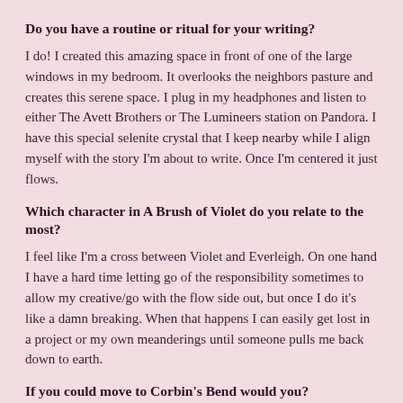Do you have a routine or ritual for your writing?
I do! I created this amazing space in front of one of the large windows in my bedroom. It overlooks the neighbors pasture and creates this serene space. I plug in my headphones and listen to either The Avett Brothers or The Lumineers station on Pandora. I have this special selenite crystal that I keep nearby while I align myself with the story I'm about to write. Once I'm centered it just flows.
Which character in A Brush of Violet do you relate to the most?
I feel like I'm a cross between Violet and Everleigh. On one hand I have a hard time letting go of the responsibility sometimes to allow my creative/go with the flow side out, but once I do it's like a damn breaking. When that happens I can easily get lost in a project or my own meanderings until someone pulls me back down to earth.
If you could move to Corbin's Bend would you?
In a heartbeat! All practicalities aside it would literally be my heaven. First of all, the scenery! Second, how awesome would it be to truly be able to live out your deepest fantasies on a daily basis!